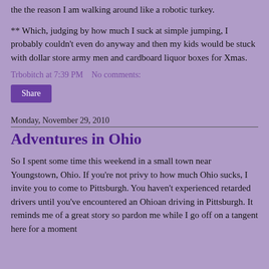the the reason I am walking around like a robotic turkey.
** Which, judging by how much I suck at simple jumping, I probably couldn't even do anyway and then my kids would be stuck with dollar store army men and cardboard liquor boxes for Xmas.
Trbobitch at 7:39 PM    No comments:
Share
Monday, November 29, 2010
Adventures in Ohio
So I spent some time this weekend in a small town near Youngstown, Ohio. If you're not privy to how much Ohio sucks, I invite you to come to Pittsburgh. You haven't experienced retarded drivers until you've encountered an Ohioan driving in Pittsburgh. It reminds me of a great story so pardon me while I go off on a tangent here for a moment